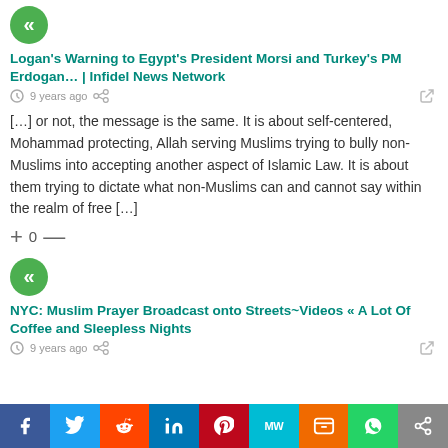[Figure (logo): Green circular Koffee logo icon]
Logan’s Warning to Egypt’s President Morsi and Turkey’s PM Erdogan... | Infidel News Network
9 years ago
[...] or not, the message is the same. It is about self-centered, Mohammad protecting, Allah serving Muslims trying to bully non-Muslims into accepting another aspect of Islamic Law. It is about them trying to dictate what non-Muslims can and cannot say within the realm of free [...]
+ 0 —
[Figure (logo): Green circular Koffee logo icon]
NYC: Muslim Prayer Broadcast onto Streets~Videos « A Lot Of Coffee and Sleepless Nights
9 years ago
f  Twitter  Reddit  in  Pinterest  MW  Mix  WhatsApp  Share